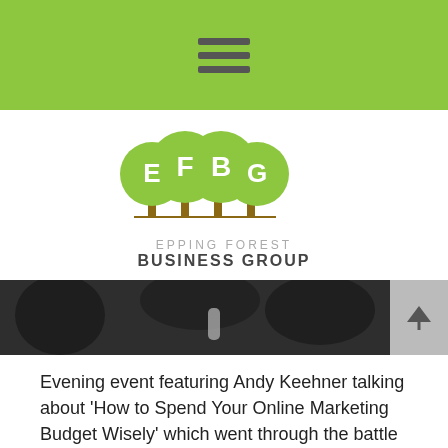[Figure (logo): Green navigation bar with hamburger menu icon]
[Figure (logo): Epping Forest Business Group logo with four green tree circles and text 'EPPING FOREST BUSINESS GROUP']
[Figure (photo): Hero photo strip showing a business event/meeting scene with a back-to-top arrow button on the right]
Evening event featuring Andy Keehner talking about 'How to Spend Your Online Marketing Budget Wisely' which went through the battle between Search Engine Optimisation vs Pay Per Click:
[Figure (other): Light grey placeholder box at the bottom of the page]